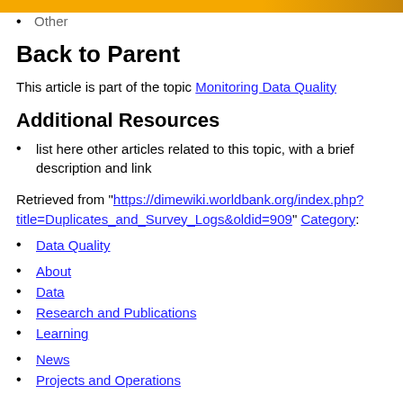Other
Back to Parent
This article is part of the topic Monitoring Data Quality
Additional Resources
list here other articles related to this topic, with a brief description and link
Retrieved from "https://dimewiki.worldbank.org/index.php?title=Duplicates_and_Survey_Logs&oldid=909" Category:
Data Quality
About
Data
Research and Publications
Learning
News
Projects and Operations